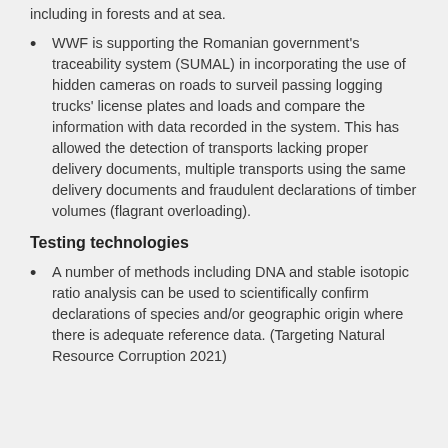including in forests and at sea.
WWF is supporting the Romanian government's traceability system (SUMAL) in incorporating the use of hidden cameras on roads to surveil passing logging trucks' license plates and loads and compare the information with data recorded in the system. This has allowed the detection of transports lacking proper delivery documents, multiple transports using the same delivery documents and fraudulent declarations of timber volumes (flagrant overloading).
Testing technologies
A number of methods including DNA and stable isotopic ratio analysis can be used to scientifically confirm declarations of species and/or geographic origin where there is adequate reference data. (Targeting Natural Resource Corruption 2021)